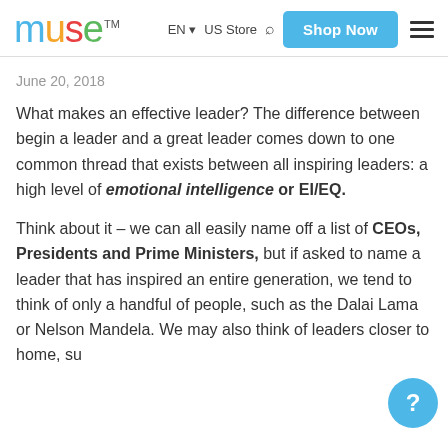[Figure (logo): Muse logo with colorful letters m-u-s-e and TM superscript]
EN  US Store  [search icon]  Shop Now  [hamburger menu]
June 20, 2018
What makes an effective leader? The difference between begin a leader and a great leader comes down to one common thread that exists between all inspiring leaders: a high level of emotional intelligence or EI/EQ.
Think about it – we can all easily name off a list of CEOs, Presidents and Prime Ministers, but if asked to name a leader that has inspired an entire generation, we tend to think of only a handful of people, such as the Dalai Lama or Nelson Mandela. We may also think of leaders closer to home, su...